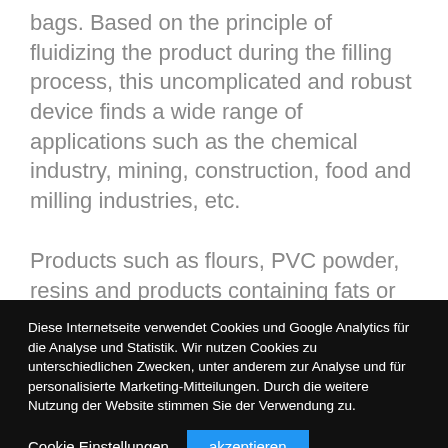bags. Based on the principle of fluidizing the product during the filling process, this uncomplicated and robust device finds a wide range of applications such as the chemical industry, mining, construction, food and milling industries, etc.
Products such as flours, PVC powder, resins and products containing fats or grease, which are sensitive to mechanical contact (a major problem when using a bagging machine with worm drive,
Diese Internetseite verwendet Cookies und Google Analytics für die Analyse und Statistik. Wir nutzen Cookies zu unterschiedlichen Zwecken, unter anderem zur Analyse und für personalisierte Marketing-Mitteilungen. Durch die weitere Nutzung der Website stimmen Sie der Verwendung zu.
Cookie Einstellungen
akzeptieren